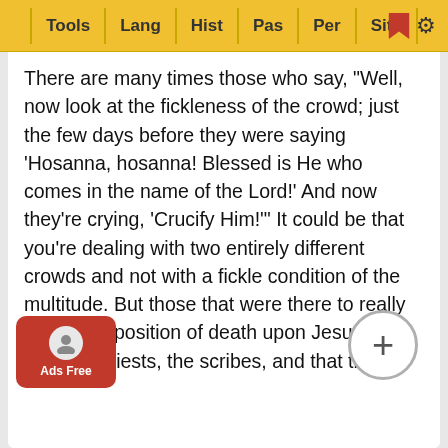Tools | Lang | Hist | Pas | Per | Site
There are many times those who say, "Well, now look at the fickleness of the crowd; just the few days before they were saying 'Hosanna, hosanna! Blessed is He who comes in the name of the Lord!' And now they're crying, 'Crucify Him!'" It could be that you're dealing with two entirely different crowds and not with a fickle condition of the multitude. But those that were there to really see the imposition of death upon Jesus were the high priests, the scribes, and that these other people were actually there and had gathered there on this day in order to help facilitate the release of their popular hero Barabbas. So that we so oftentimes hear Barabbas cast in an evil light, "How would they chose this man who was a murderer and insurrectionist and all?" Well, it's because he was an insurrectionist that they sort of admired him. And have been a real people's hero as far as insurrection against Rome was concerned. Nonetheless, however it may be, th… man who w… oice h…